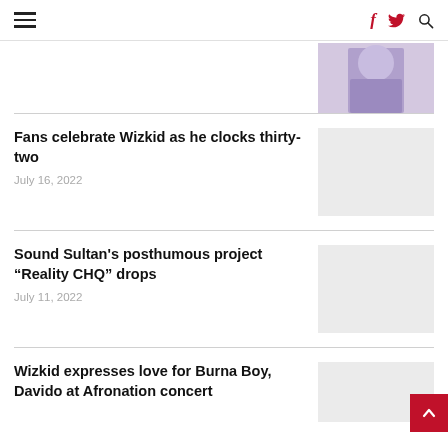Navigation bar with hamburger menu, social icons (f, twitter bird, search)
[Figure (photo): Person wearing blue/purple clothing standing against a light background, cropped to torso]
Fans celebrate Wizkid as he clocks thirty-two
July 16, 2022
[Figure (photo): Light grey placeholder thumbnail image]
Sound Sultan's posthumous project “Reality CHQ” drops
July 11, 2022
[Figure (photo): Light grey placeholder thumbnail image]
Wizkid expresses love for Burna Boy, Davido at Afronation concert
[Figure (photo): Light grey placeholder thumbnail image (partially visible)]